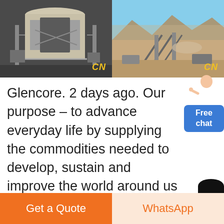[Figure (photo): Two industrial/mining site photos side by side. Left: large industrial equipment/building interior with machinery. Right: open-pit mining site with conveyors and desert landscape. Both images have 'CN' watermark in yellow italic text.]
Glencore. 2 days ago. Our purpose – to advance everyday life by supplying the commodities needed to develop, sustain and improve the world around us – is one that requires complete commitment across our operations. In the coming weeks we'll be showing how our people, guided by our Values, are making sure
Get a Quote | WhatsApp